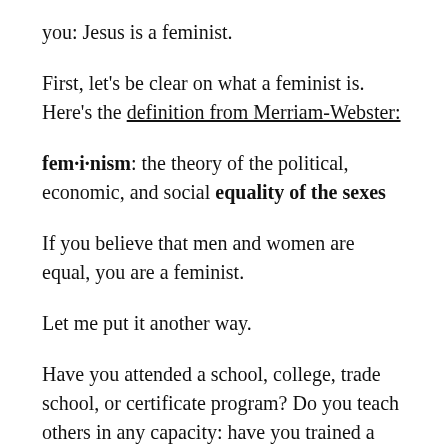you: Jesus is a feminist.
First, let's be clear on what a feminist is. Here's the definition from Merriam-Webster:
fem·i·nism: the theory of the political, economic, and social equality of the sexes
If you believe that men and women are equal, you are a feminist.
Let me put it another way.
Have you attended a school, college, trade school, or certificate program? Do you teach others in any capacity: have you trained a coworker at school, taught a workshop, led a Sunday school class or Young Life meeting? Ever spoken in front of an audience that included men? Do you own a car, a